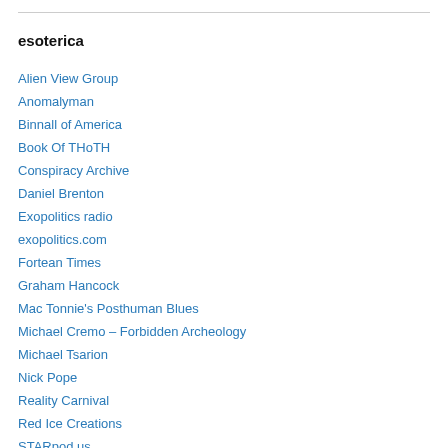esoterica
Alien View Group
Anomalyman
Binnall of America
Book Of THoTH
Conspiracy Archive
Daniel Brenton
Exopolitics radio
exopolitics.com
Fortean Times
Graham Hancock
Mac Tonnie's Posthuman Blues
Michael Cremo – Forbidden Archeology
Michael Tsarion
Nick Pope
Reality Carnival
Red Ice Creations
STARpod.us